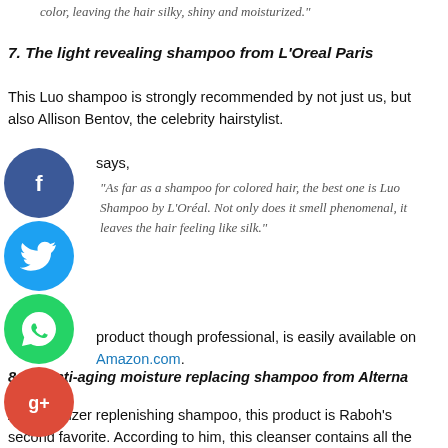it removes the buildup of daily pollution without removing color, leaving the hair silky, shiny and moisturized."
7. The light revealing shampoo from L’Oreal Paris
This Luo shampoo is strongly recommended by not just us, but also Allison Bentov, the celebrity hairstylist.
says,
“As far as a shampoo for colored hair, the best one is Luo Shampoo by L’Oréal. Not only does it smell phenomenal, it leaves the hair feeling like silk.”
product though professional, is easily available on Amazon.com.
8. An anti-aging moisture replacing shampoo from Alterna Caviar
A moisturizer replenishing shampoo, this product is Raboh’s second favorite. According to him, this cleanser contains all the ingredients that are necessary for stronger and more lustrous hair.